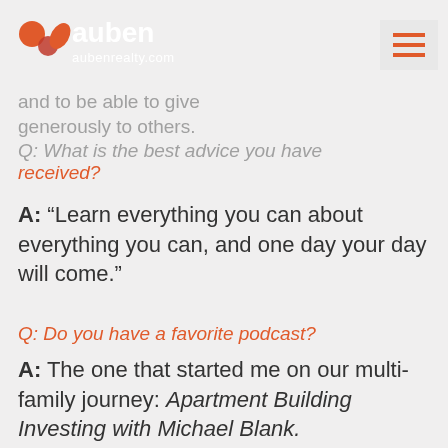auben aubenrealty.com
and to be able to give generously to others.
Q: What is the best advice you have received?
A: “Learn everything you can about everything you can, and one day your day will come.”
Q: Do you have a favorite podcast?
A: The one that started me on our multi-family journey: Apartment Building Investing with Michael Blank.
Q: Any hobbies?
A: